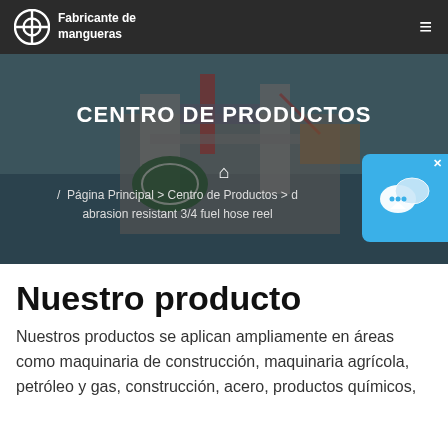Fabricante de mangueras
CENTRO DE PRODUCTOS
/ Página Principal > Centro de Productos > abrasion resistant 3/4 fuel hose reel
Nuestro producto
Nuestros productos se aplican ampliamente en áreas como maquinaria de construcción, maquinaria agrícola, petróleo y gas, construcción, acero, productos químicos,